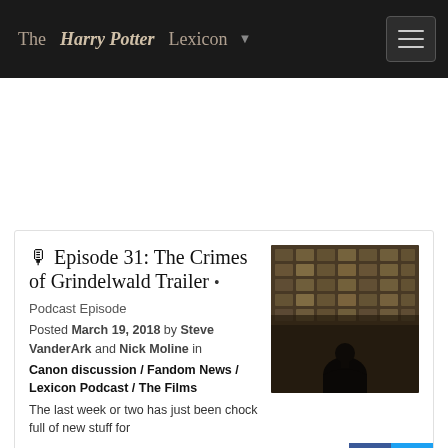The Harry Potter Lexicon
🎙 Episode 31: The Crimes of Grindelwald Trailer • Podcast Episode
Posted March 19, 2018 by Steve VanderArk and Nick Moline in Canon discussion / Fandom News / Lexicon Podcast / The Films
[Figure (photo): Dark sepia-toned image showing a silhouette of a person viewed from behind, standing before a large illuminated wall covered in rectangular text or document panels]
The last week or two has just been chock full of new stuff for